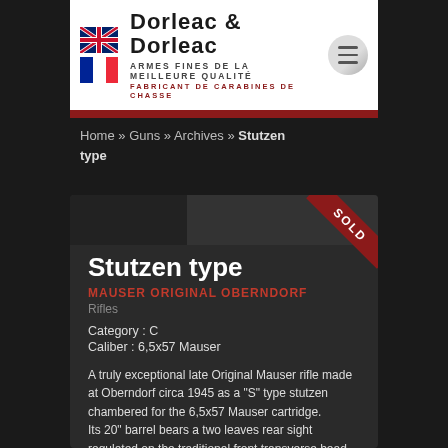DORLEAC & DORLEAC — ARMES FINES DE LA MEILLEURE QUALITÉ — FABRICANT DE CARABINES DE CHASSE
Home » Guns » Archives » Stutzen type
Stutzen type
MAUSER ORIGINAL OBERNDORF
Rifles
Category : C
Caliber : 6,5x57 Mauser
A truly exceptional late Original Mauser rifle made at Oberndorf circa 1945 as a "S" type stutzen chambered for the 6,5x57 Mauser cartridge.
Its 20" barrel bears a two leaves rear sight regulated on the traditional front transverse bead under typical protector.
The late type action is fitted with a German double set trigger and a lever bolted.